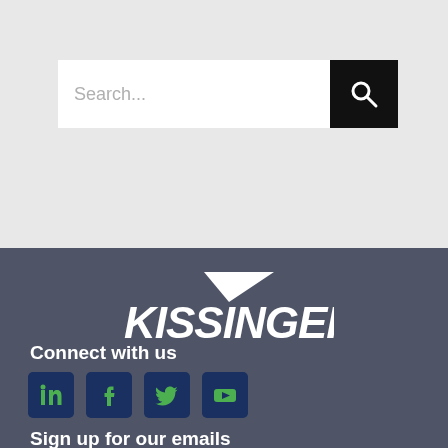[Figure (screenshot): Search bar with placeholder text 'Search...' and a black search button with magnifying glass icon]
[Figure (logo): Kissinger company logo in white with a triangular arrow graphic above the text KISSINGER on a dark slate background]
Connect with us
[Figure (other): Four social media icon buttons (LinkedIn, Facebook, Twitter, YouTube) with dark navy background and green icons]
Sign up for our emails